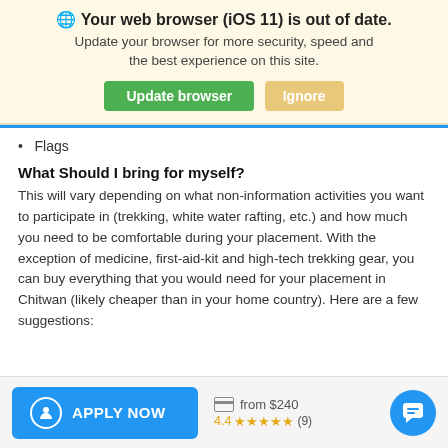🌐 Your web browser (iOS 11) is out of date.
Update your browser for more security, speed and the best experience on this site.
Flags
What Should I bring for myself?
This will vary depending on what non-information activities you want to participate in (trekking, white water rafting, etc.) and how much you need to be comfortable during your placement. With the exception of medicine, first-aid-kit and high-tech trekking gear, you can buy everything that you would need for your placement in Chitwan (likely cheaper than in your home country). Here are a few suggestions:
APPLY NOW  from $240  4.4 ★★★★★ (9)